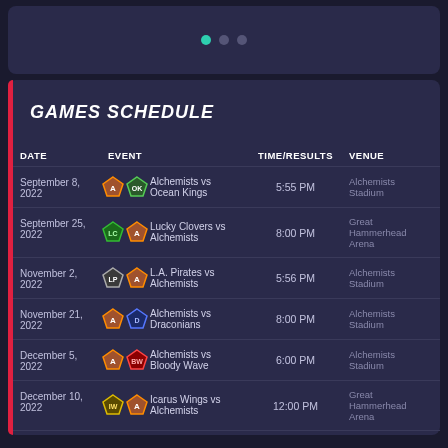[Figure (illustration): Top banner with carousel dots: one teal active dot and two grey inactive dots]
GAMES SCHEDULE
| DATE | EVENT | TIME/RESULTS | VENUE |
| --- | --- | --- | --- |
| September 8, 2022 | Alchemists vs Ocean Kings | 5:55 PM | Alchemists Stadium |
| September 25, 2022 | Lucky Clovers vs Alchemists | 8:00 PM | Great Hammerhead Arena |
| November 2, 2022 | L.A. Pirates vs Alchemists | 5:56 PM | Alchemists Stadium |
| November 21, 2022 | Alchemists vs Draconians | 8:00 PM | Alchemists Stadium |
| December 5, 2022 | Alchemists vs Bloody Wave | 6:00 PM | Alchemists Stadium |
| December 10, 2022 | Icarus Wings vs Alchemists | 12:00 PM | Great Hammerhead Arena |